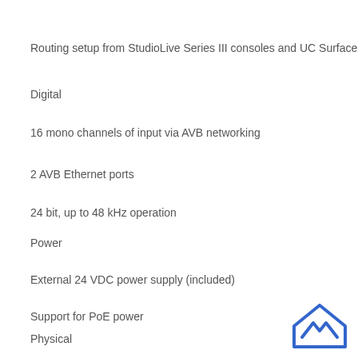Routing setup from StudioLive Series III consoles and UC Surface
Digital
16 mono channels of input via AVB networking
2 AVB Ethernet ports
24 bit, up to 48 kHz operation
Power
External 24 VDC power supply (included)
Support for PoE power
Physical
[Figure (logo): Blue house/chevron logo icon in bottom right corner]